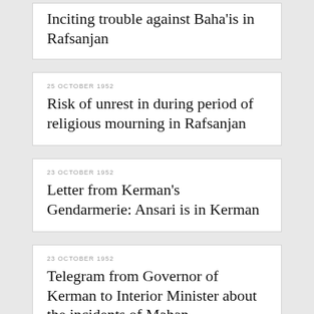Inciting trouble against Baha'is in Rafsanjan
25 OCTOBER 1952
Risk of unrest in during period of religious mourning in Rafsanjan
23 OCTOBER 1952
Letter from Kerman's Gendarmerie: Ansari is in Kerman
23 OCTOBER 1952
Telegram from Governor of Kerman to Interior Minister about the incidents of Mahan
22 OCTOBER 1952
The sit-in ended in Mahan